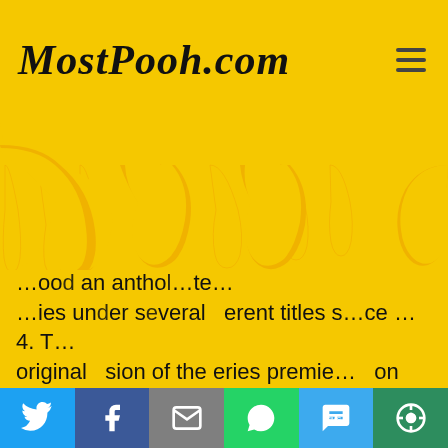MostPooh.com
[Figure (illustration): Yellow honey dripping decoration forming drip shapes across the top portion of the page]
...ood an anthology ...ies under several different titles s...ce ...4. The original version of the series premiered on ABC in 1954. The show was broadcast weekly on one of the Big Three television networks until 1990, a 36-year span with only a two-year hiatus in 1984-85. The series was broadcast on Sunday for 25 of those years. From 1991 until 1997, the series aired infrequently. The program resumed a regular schedule in 1997 on the ABC fall schedule, coinciding with Disney's recent purchase of the network. From 1997 until 2008, the program aired
Social share bar: Twitter, Facebook, Email, WhatsApp, SMS, More